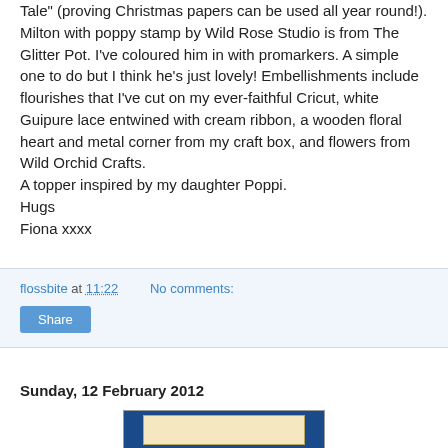Tale" (proving Christmas papers can be used all year round!). Milton with poppy stamp by Wild Rose Studio is from The Glitter Pot. I've coloured him in with promarkers. A simple one to do but I think he's just lovely! Embellishments include flourishes that I've cut on my ever-faithful Cricut, white Guipure lace entwined with cream ribbon, a wooden floral heart and metal corner from my craft box, and flowers from Wild Orchid Crafts.
A topper inspired by my daughter Poppi.
Hugs
Fiona xxxx
flossbite at 11:22    No comments:
Share
Sunday, 12 February 2012
[Figure (photo): Partial view of a craft card on a blue background, showing a cream/gold patterned rectangular panel]